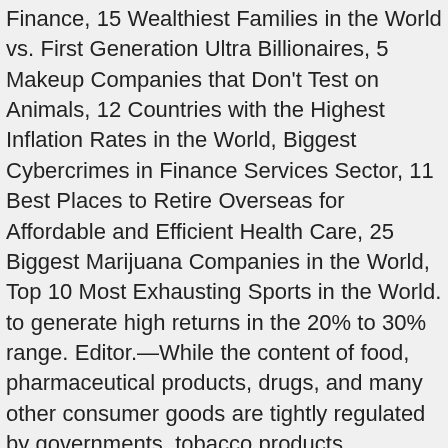Finance, 15 Wealthiest Families in the World vs. First Generation Ultra Billionaires, 5 Makeup Companies that Don't Test on Animals, 12 Countries with the Highest Inflation Rates in the World, Biggest Cybercrimes in Finance Services Sector, 11 Best Places to Retire Overseas for Affordable and Efficient Health Care, 25 Biggest Marijuana Companies in the World, Top 10 Most Exhausting Sports in the World. to generate high returns in the 20% to 30% range. Editor.—While the content of food, pharmaceutical products, drugs, and many other consumer goods are tightly regulated by governments, tobacco products, surprisingly, are not. Sorry, no results has been found matching your query. We still like this investment. 0.1 mg nicotine cigarettes7 Cigarette Brands With Lowest Tar and NicotineDaily Newsletterhat is the lowest tar and nicotine cigarette on the marketlow tar and nicotine in Camel One cigaretteslow tar and nicotine in Davidoff One cigaretteslow tar and nicotine in Davidoff one Slims cigaretteslow tar and nicotine in Glamour Super Slims Amber cigaretteslow tar and nicotine in